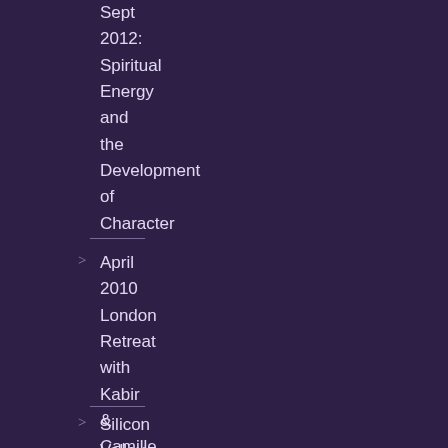Sept 2012: Spiritual Energy and the Development of Character
April 2010 London Retreat with Kabir & Camille
Silicon Valley Sohbets